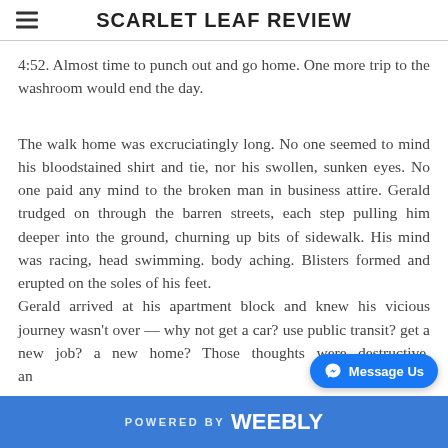SCARLET LEAF REVIEW
4:52. Almost time to punch out and go home. One more trip to the washroom would end the day.
The walk home was excruciatingly long. No one seemed to mind his bloodstained shirt and tie, nor his swollen, sunken eyes. No one paid any mind to the broken man in business attire. Gerald trudged on through the barren streets, each step pulling him deeper into the ground, churning up bits of sidewalk. His mind was racing, head swimming. body aching. Blisters formed and erupted on the soles of his feet.
Gerald arrived at his apartment block and knew his vicious journey wasn't over — why not get a car? use public transit? get a new job? a new home? Those thoughts were destructive, an
POWERED BY weebly